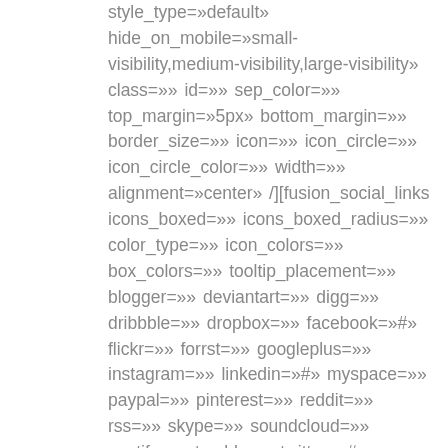style_type=»default» hide_on_mobile=»small-visibility,medium-visibility,large-visibility» class=»» id=»» sep_color=»» top_margin=»5px» bottom_margin=»» border_size=»» icon=»» icon_circle=»» icon_circle_color=»» width=»» alignment=»center» /][fusion_social_links icons_boxed=»» icons_boxed_radius=»» color_type=»» icon_colors=»» box_colors=»» tooltip_placement=»» blogger=»» deviantart=»» digg=»» dribbble=»» dropbox=»» facebook=»#» flickr=»» forrst=»» googleplus=»» instagram=»» linkedin=»#» myspace=»» paypal=»» pinterest=»» reddit=»» rss=»» skype=»» soundcloud=»» spotify=»» tumblr=»» twitter=»#» vimeo=»» vk=»» whatsapp=»» xing=»» yahoo=»» yelp=»» youtube=»» email=»» show_custom=»no» alignment=»»